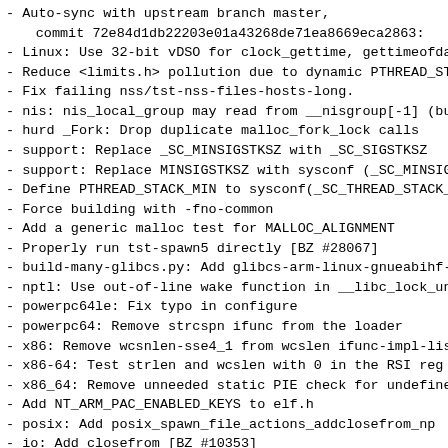- Auto-sync with upstream branch master, commit 72e84d1db22203e01a43268de71ea8669eca2863:
- Linux: Use 32-bit vDSO for clock_gettime, gettimeofda
- Reduce <limits.h> pollution due to dynamic PTHREAD_ST
- Fix failing nss/tst-nss-files-hosts-long.
- nis: nis_local_group may read from __nisgroup[-1] (bu
- hurd _Fork: Drop duplicate malloc_fork_lock calls
- support: Replace _SC_MINSIGSTKSZ with _SC_SIGSTKSZ
- support: Replace MINSIGSTKSZ with sysconf (_SC_MINSIG
- Define PTHREAD_STACK_MIN to sysconf(_SC_THREAD_STACK_
- Force building with -fno-common
- Add a generic malloc test for MALLOC_ALIGNMENT
- Properly run tst-spawn5 directly [BZ #28067]
- build-many-glibcs.py: Add glibcs-arm-linux-gnueabihf-
- nptl: Use out-of-line wake function in __libc_lock_un
- powerpc64le: Fix typo in configure
- powerpc64: Remove strcspn ifunc from the loader
- x86: Remove wcsnlen-sse4_1 from wcslen ifunc-impl-lis
- x86-64: Test strlen and wcslen with 0 in the RSI reg
- x86_64: Remove unneeded static PIE check for undefine
- Add NT_ARM_PAC_ENABLED_KEYS to elf.h
- posix: Add posix_spawn_file_actions_addclosefrom_np
- io: Add closefrom [BZ #10353]
- linux: Add close_range
- support: Add support_stack_alloc
- _int_realloc is static
- Move mcheck symbol from stdlib to malloc
- nss: Do not install static linker input files for lib
- elf/tests: Make thrlock and noload depend on libm
- Harden tcache double-free check